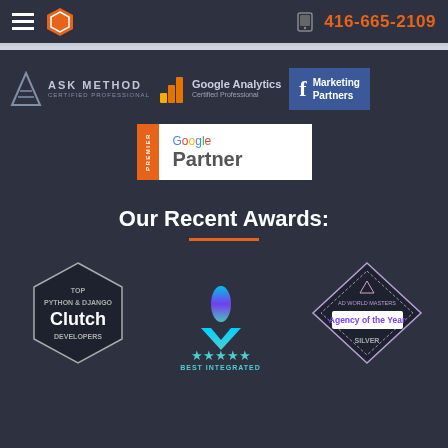416-665-2109
[Figure (logo): ASK METHOD Certified Professional logo with triangle icon]
[Figure (logo): Google Analytics Certified Professional logo with bar chart icon]
[Figure (logo): Facebook Marketing Partners logo with blue background]
[Figure (logo): Google Premier Partner logo with white background]
Our Recent Awards:
[Figure (logo): Clutch Top Python & Django Developers badge]
[Figure (logo): Best Integrated award badge with flame and star icons]
[Figure (logo): Ad World Masters Agency of the Year Silver badge with diamond shape]